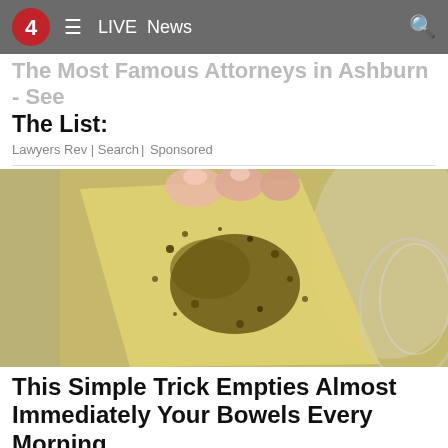4 ≡ LIVE News 🔍
The Most Famous Attorneys in Ashburn - See The List:
Lawyers Rev | Search | Sponsored
[Figure (photo): Close-up photo of a hand holding a translucent yellowish strip covered with dark golden/green particles, possibly a medicinal or dietary supplement strip, over a glass bowl.]
This Simple Trick Empties Almost Immediately Your Bowels Every Morning